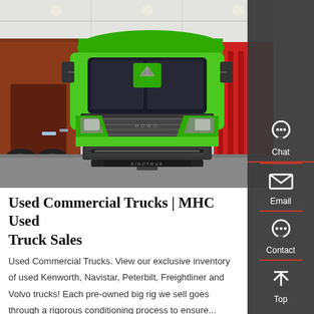[Figure (photo): Front view of a bright green Sinotruk commercial truck displayed in a showroom, with a brown dump truck on the left and red flatbed trailers on the right.]
Used Commercial Trucks | MHC Used Truck Sales
Used Commercial Trucks. View our exclusive inventory of used Kenworth, Navistar, Peterbilt, Freightliner and Volvo trucks! Each pre-owned big rig we sell goes through a rigorous conditioning process to ensure...